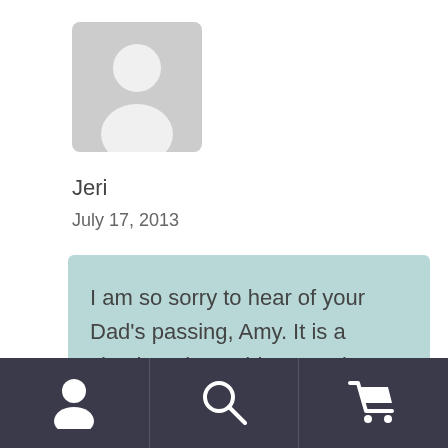[Figure (illustration): Generic user avatar placeholder — grey circle head and body silhouette on light grey rounded square background]
Jeri
July 17, 2013
I am so sorry to hear of your Dad's passing, Amy. It is a shock and a sudden emptiness to find him gone when there was always tomorrow. I lost my father 10 years ago and I still miss him, but the joy he brought
[Figure (infographic): Mobile app bottom navigation bar with three icons: user/profile icon, search/magnifier icon, shopping cart icon]